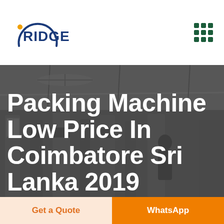RIDGE logo and navigation menu
[Figure (photo): Industrial factory interior with packing machinery, dimly lit with overhead lighting, dark overlay]
Packing Machine Low Price In Coimbatore Sri Lanka 2019
Get a Quote
WhatsApp